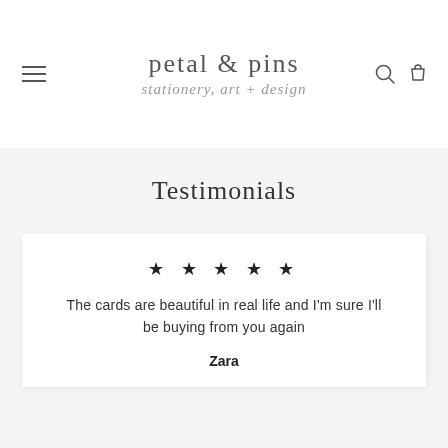petal & pins — stationery, art + design
Testimonials
★★★★★
The cards are beautiful in real life and I'm sure I'll be buying from you again
Zara